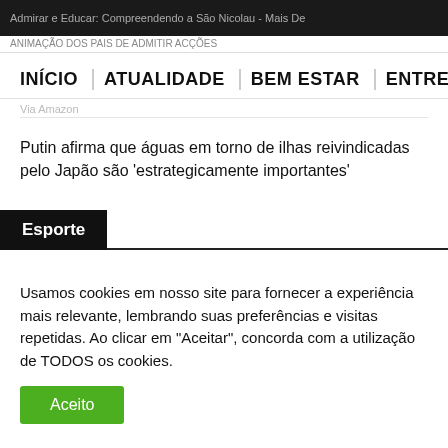Admirar e Educar: Compreendendo a São Nicolau - Mais De
ANIMAÇÃO DOS PAIS DE ADMITIR ACÇÕES
INÍCIO | ATUALIDADE | BEM ESTAR | ENTRETENIMENTO
Via Amazon
Putin afirma que águas em torno de ilhas reivindicadas pelo Japão são 'estrategicamente importantes'
Esporte
Usamos cookies em nosso site para fornecer a experiência mais relevante, lembrando suas preferências e visitas repetidas. Ao clicar em "Aceitar", concorda com a utilização de TODOS os cookies.
Aceito